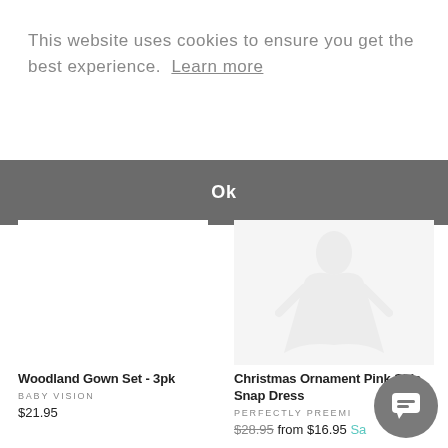This website uses cookies to ensure you get the best experience.  Learn more
Ok
Woodland Gown Set - 3pk
BABY VISION
$21.95
[Figure (illustration): Faint ghost/placeholder image of a dress product on right side]
Christmas Ornament Pink Side Snap Dress
PERFECTLY PREEMI...
$28.95 from $16.95 Sa...